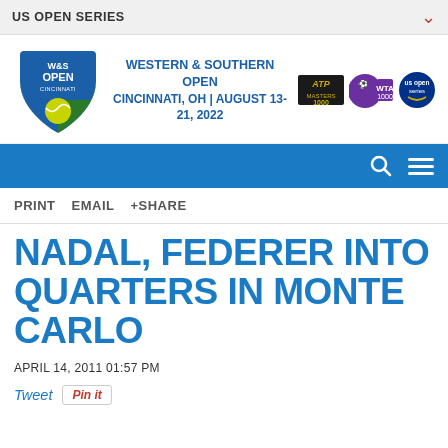US OPEN SERIES
[Figure (logo): Western & Southern Open Cincinnati shield logo with W&S Open Cincinnati text and tennis ball graphic]
WESTERN & SOUTHERN OPEN
CINCINNATI, OH | AUGUST 13-21, 2022
[Figure (logo): ATP Masters 1000 logo, WTA 1000 logo, US Open Series logo]
[Figure (screenshot): Blue navigation bar with search and menu icons]
PRINT   EMAIL   +SHARE
NADAL, FEDERER INTO QUARTERS IN MONTE CARLO
APRIL 14, 2011 01:57 PM
Tweet   Pin it